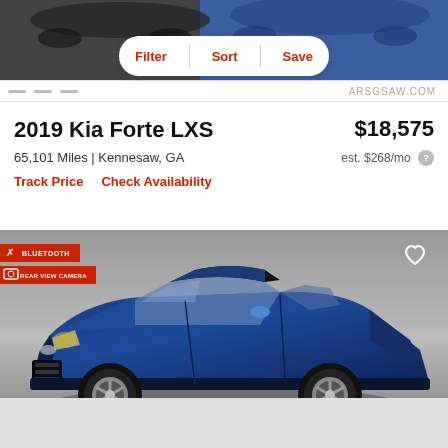[Figure (screenshot): Top navigation bar with car images in background and Filter, Sort, Save buttons in a white pill-shaped bar]
2019 Kia Forte LXS
$18,575
65,101 Miles | Kennesaw, GA
est. $268/mo
Track Price    Check Availability
[Figure (photo): Blue 2019 Kia Forte LXS sedan photographed from the front-left angle in a studio/dealership setting. Has Bluetooth and Rear View Camera badges on the left side, heart/save icon in the top right corner.]